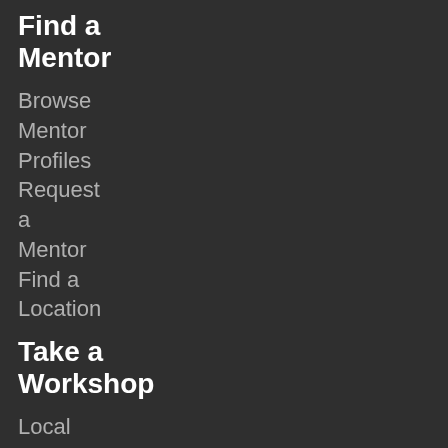Find a Mentor
Browse Mentor Profiles
Request a Mentor
Find a Location
Take a Workshop
Local Workshops
Webinars